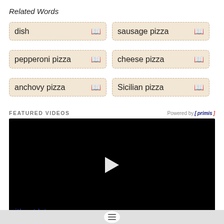Related Words
dish
sausage pizza
pepperoni pizza
cheese pizza
anchovy pizza
Sicilian pizza
FEATURED VIDEOS
Powered by [primis]
[Figure (screenshot): Black video player with white play button triangle in center]
without letup
Without slowing down or stopping.  Read More